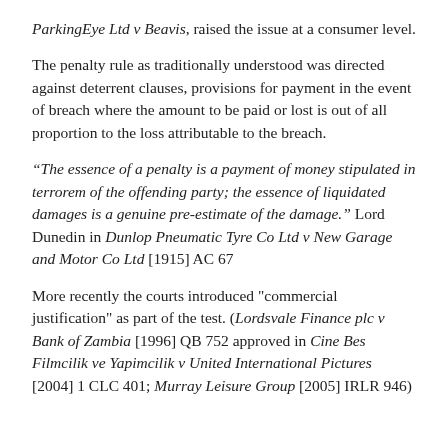ParkingEye Ltd v Beavis, raised the issue at a consumer level.
The penalty rule as traditionally understood was directed against deterrent clauses, provisions for payment in the event of breach where the amount to be paid or lost is out of all proportion to the loss attributable to the breach.
“The essence of a penalty is a payment of money stipulated in terrorem of the offending party; the essence of liquidated damages is a genuine pre-estimate of the damage.” Lord Dunedin in Dunlop Pneumatic Tyre Co Ltd v New Garage and Motor Co Ltd [1915] AC 67
More recently the courts introduced "commercial justification" as part of the test. (Lordsvale Finance plc v Bank of Zambia [1996] QB 752 approved in Cine Bes Filmcilik ve Yapimcilik v United International Pictures [2004] 1 CLC 401; Murray Leisure Group [2005] IRLR 946)